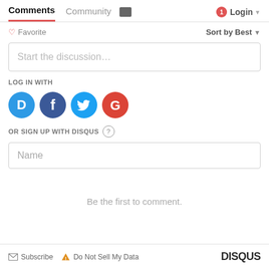Comments | Community | Login
♡ Favorite   Sort by Best
Start the discussion…
LOG IN WITH
[Figure (infographic): Social login icons: Disqus (blue circle with D), Facebook (dark blue circle with f), Twitter (light blue circle with bird), Google (red circle with G)]
OR SIGN UP WITH DISQUS ?
Name
Be the first to comment.
✉ Subscribe  ⚠ Do Not Sell My Data   DISQUS